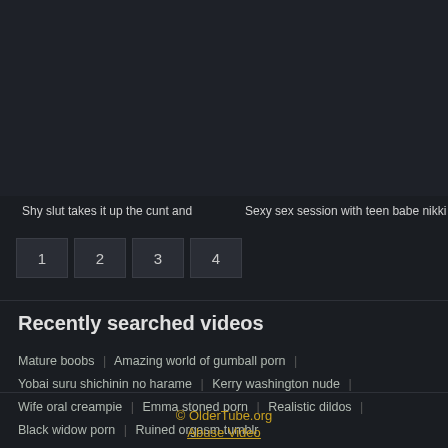Shy slut takes it up the cunt and    Sexy sex session with teen babe nikki
1
2
3
4
Recently searched videos
Mature boobs | Amazing world of gumball porn | Yobai suru shichinin no harame | Kerry washington nude | Wife oral creampie | Emma stoned porn | Realistic dildos | Black widow porn | Ruined orgasm tumblr
© OlderTube.org
Abuse Video